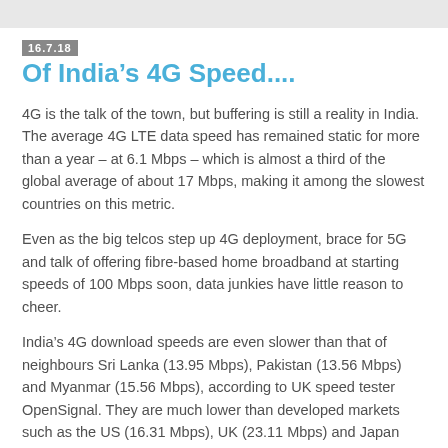16.7.18
Of India's 4G Speed....
4G is the talk of the town, but buffering is still a reality in India. The average 4G LTE data speed has remained static for more than a year – at 6.1 Mbps – which is almost a third of the global average of about 17 Mbps, making it among the slowest countries on this metric.
Even as the big telcos step up 4G deployment, brace for 5G and talk of offering fibre-based home broadband at starting speeds of 100 Mbps soon, data junkies have little reason to cheer.
India's 4G download speeds are even slower than that of neighbours Sri Lanka (13.95 Mbps), Pakistan (13.56 Mbps) and Myanmar (15.56 Mbps), according to UK speed tester OpenSignal. They are much lower than developed markets such as the US (16.31 Mbps), UK (23.11 Mbps) and Japan (25.39 Mbps).